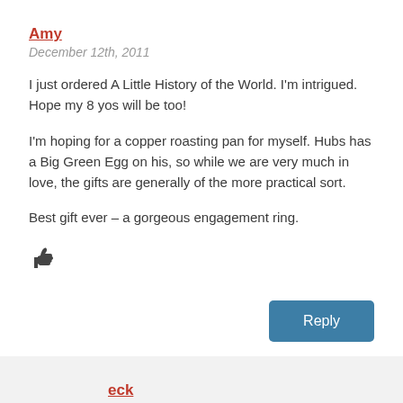Amy
December 12th, 2011
I just ordered A Little History of the World. I'm intrigued. Hope my 8 yos will be too!
I'm hoping for a copper roasting pan for myself. Hubs has a Big Green Egg on his, so while we are very much in love, the gifts are generally of the more practical sort.
Best gift ever – a gorgeous engagement ring.
[Figure (other): Thumbs up icon]
Reply
eck